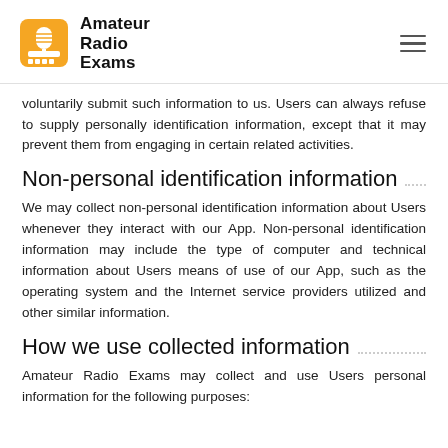Amateur Radio Exams
voluntarily submit such information to us. Users can always refuse to supply personally identification information, except that it may prevent them from engaging in certain related activities.
Non-personal identification information
We may collect non-personal identification information about Users whenever they interact with our App. Non-personal identification information may include the type of computer and technical information about Users means of use of our App, such as the operating system and the Internet service providers utilized and other similar information.
How we use collected information
Amateur Radio Exams may collect and use Users personal information for the following purposes: